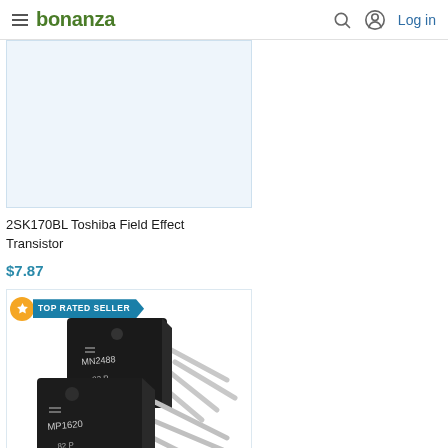bonanza — Log in
[Figure (screenshot): Partial product listing image for 2SK170BL Toshiba Field Effect Transistor, light blue product photo area]
2SK170BL Toshiba Field Effect Transistor
$7.87
[Figure (photo): Two black power transistors (MP1620 and MN2488, both marked 82 P) with metal leads fanned out, photographed on white background. TOP RATED SELLER badge in upper left.]